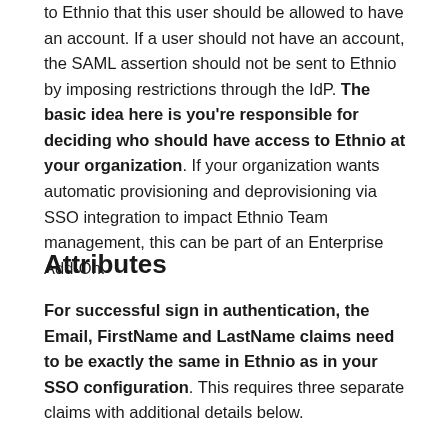to Ethnio that this user should be allowed to have an account. If a user should not have an account, the SAML assertion should not be sent to Ethnio by imposing restrictions through the IdP. The basic idea here is you're responsible for deciding who should have access to Ethnio at your organization. If your organization wants automatic provisioning and deprovisioning via SSO integration to impact Ethnio Team management, this can be part of an Enterprise Add-On.
Attributes
For successful sign in authentication, the Email, FirstName and LastName claims need to be exactly the same in Ethnio as in your SSO configuration. This requires three separate claims with additional details below.